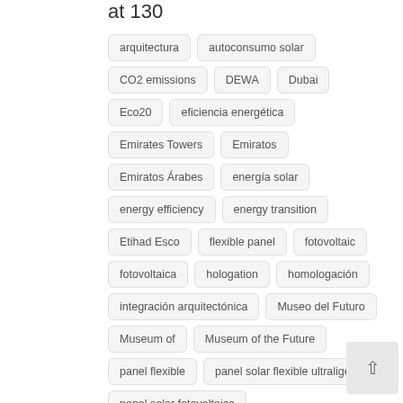at 130
arquitectura
autoconsumo solar
CO2 emissions
DEWA
Dubai
Eco20
eficiencia energética
Emirates Towers
Emiratos
Emiratos Árabes
energía solar
energy efficiency
energy transition
Etihad Esco
flexible panel
fotovoltaic
fotovoltaica
hologation
homologación
integración arquitectónica
Museo del Futuro
Museum of
Museum of the Future
panel flexible
panel solar flexible ultraligero
panel solar fotovoltaico